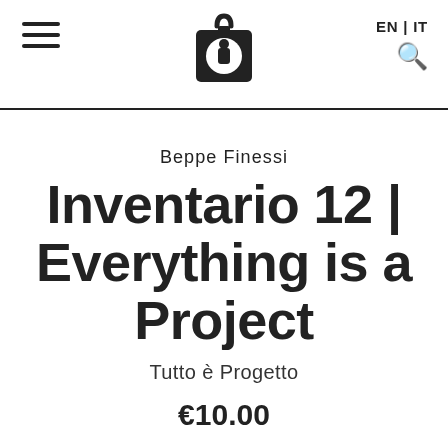EN | IT
[Figure (logo): Inventario backpack/lantern logo icon in black]
Beppe Finessi
Inventario 12 | Everything is a Project
Tutto è Progetto
€10.00